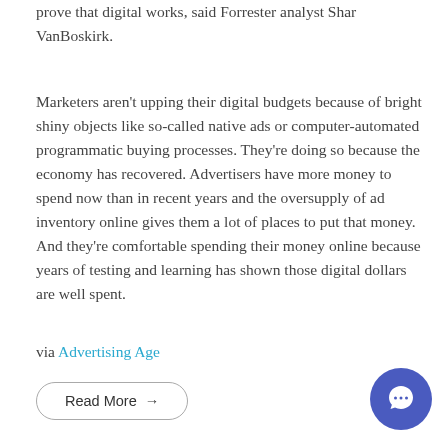prove that digital works, said Forrester analyst Shar VanBoskirk.
Marketers aren't upping their digital budgets because of bright shiny objects like so-called native ads or computer-automated programmatic buying processes. They're doing so because the economy has recovered. Advertisers have more money to spend now than in recent years and the oversupply of ad inventory online gives them a lot of places to put that money. And they're comfortable spending their money online because years of testing and learning has shown those digital dollars are well spent.
via Advertising Age